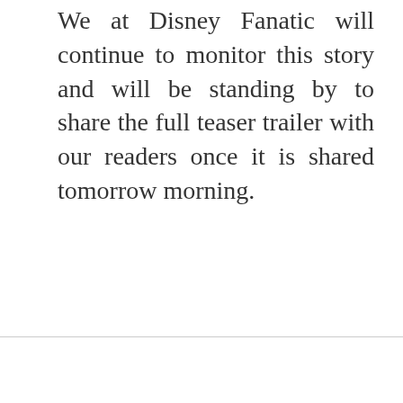We at Disney Fanatic will continue to monitor this story and will be standing by to share the full teaser trailer with our readers once it is shared tomorrow morning.